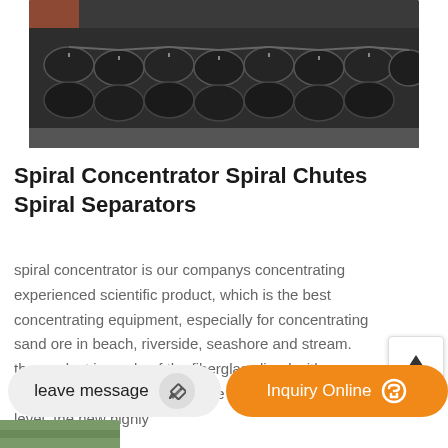[Figure (photo): Industrial spiral concentrator / spiral chutes equipment photographed in a factory or yard setting, dark metal machinery with multiple spiral sections]
Spiral Concentrator Spiral Chutes Spiral Separators
spiral concentrator is our companys concentrating experienced scientific product, which is the best concentrating equipment, especially for concentrating sand ore in beach, riverside, seashore and stream. the product is made of the fiberglass lined with wear-resista resin and emery. it is the domestic advanced level, the new highly
leave message | Inquiry Online